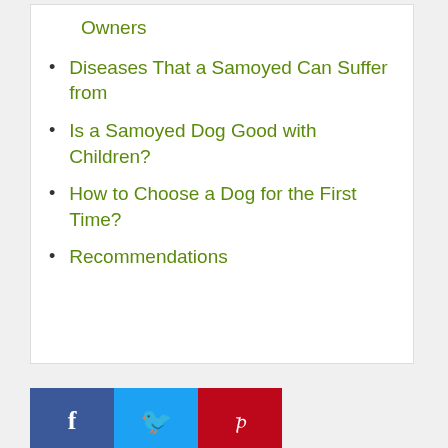Owners
Diseases That a Samoyed Can Suffer from
Is a Samoyed Dog Good with Children?
How to Choose a Dog for the First Time?
Recommendations
[Figure (other): Social share buttons: Facebook (blue), Twitter (light blue), Pinterest (red)]